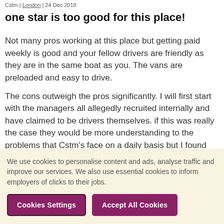Cstm | London | 24 Dec 2018
one star is too good for this place!
Not many pros working at this place but getting paid weekly is good and your fellow drivers are friendly as they are in the same boat as you. The vans are preloaded and easy to drive.
The cons outweigh the pros significantly. I will first start with the managers all allegedly recruited internally and have claimed to be drivers themselves. if this was really the case they would be more understanding to the problems that Cstm's face on a daily basis but I found them to be
We use cookies to personalise content and ads, analyse traffic and improve our services. We also use essential cookies to inform employers of clicks to their jobs.